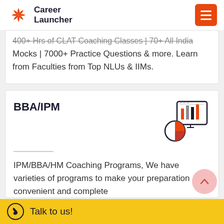Career Launcher
400+ Hrs of CLAT Coaching Classes | 70+ All India Mocks | 7000+ Practice Questions & more. Learn from Faculties from Top NLUs & IIMs.
BBA/IPM
[Figure (illustration): Icon showing a pie chart and bar chart/analytics dashboard illustration in red and black line art style]
IPM/BBA/HM Coaching Programs, We have varieties of programs to make your preparation convenient and complete
Talk to us!